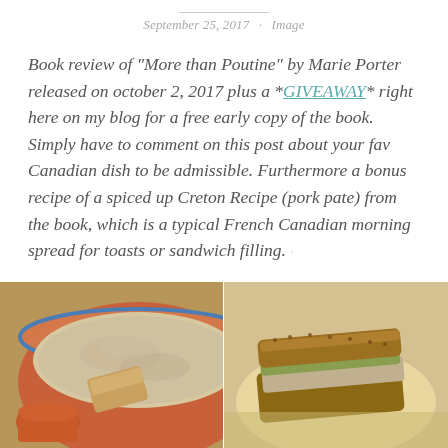September 25, 2017 · Image
Book review of "More than Poutine" by Marie Porter released on october 2, 2017 plus a *GIVEAWAY* right here on my blog for a free early copy of the book. Simply have to comment on this post about your fav Canadian dish to be admissible. Furthermore a bonus recipe of a spiced up Creton Recipe (pork pate) from the book, which is a typical French Canadian morning spread for toasts or sandwich filling.
[Figure (photo): Food photo showing a terracotta bowl filled with creton (pork pate) on the left side, and a sandwich filled with creton on the right side, on a light background.]